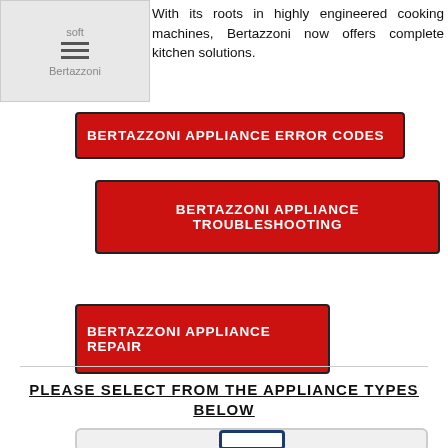Bertazzoni
With its roots in highly engineered cooking machines, Bertazzoni now offers complete kitchen solutions.
BERTAZZONI APPLIANCE ERROR CODES
BERTAZZONI APPLIANCE TROUBLESHOOTING
BERTAZZONI APPLIANCE REPAIR
PLEASE SELECT FROM THE APPLIANCE TYPES BELOW
[Figure (illustration): Appliance icon/image at bottom of page, partially visible, showing a rounded rectangle outline in navy blue]